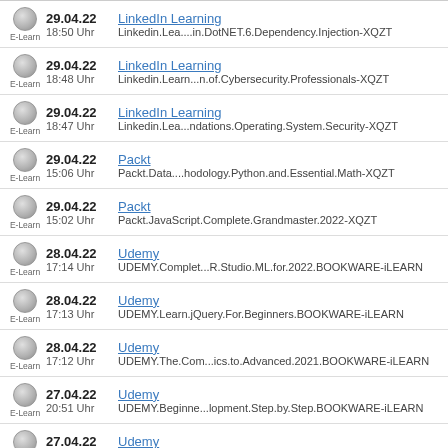E-Learn | 29.04.22 18:50 Uhr | LinkedIn Learning | Linkedin.Lea....in.DotNET.6.Dependency.Injection-XQZT
E-Learn | 29.04.22 18:48 Uhr | LinkedIn Learning | Linkedin.Learn...n.of.Cybersecurity.Professionals-XQZT
E-Learn | 29.04.22 18:47 Uhr | LinkedIn Learning | Linkedin.Lea...ndations.Operating.System.Security-XQZT
E-Learn | 29.04.22 15:06 Uhr | Packt | Packt.Data....hodology.Python.and.Essential.Math-XQZT
E-Learn | 29.04.22 15:02 Uhr | Packt | Packt.JavaScript.Complete.Grandmaster.2022-XQZT
E-Learn | 28.04.22 17:14 Uhr | Udemy | UDEMY.Complet...R.Studio.ML.for.2022.BOOKWARE-iLEARN
E-Learn | 28.04.22 17:13 Uhr | Udemy | UDEMY.Learn.jQuery.For.Beginners.BOOKWARE-iLEARN
E-Learn | 28.04.22 17:12 Uhr | Udemy | UDEMY.The.Com...ics.to.Advanced.2021.BOOKWARE-iLEARN
E-Learn | 27.04.22 20:51 Uhr | Udemy | UDEMY.Beginne...lopment.Step.by.Step.BOOKWARE-iLEARN
E-Learn | 27.04.22 20:50 Uhr | Udemy | UDEMY.GDPR.Com...ivacy.for.Beginners.BOOKWARE-iLEARN
E-Learn | 27.04.22 20:50 Uhr | Udemy | UDEMY.HTML5....o.Advanced.Level.2021.BOOKWARE-iLEARN
E-Learn | 27.04.22 | Udemy